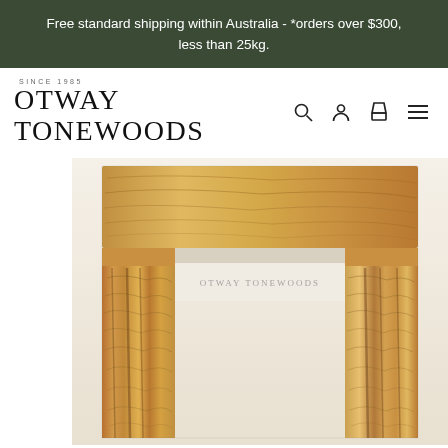Free standard shipping within Australia - *orders over $300, less than 25kg.
[Figure (logo): Otway Tonewoods logo with 'SINCE 1985' above in small caps and navigation icons (search, account, cart, menu) to the right]
[Figure (photo): Product photo of figured/curly tonewoods wood sets for guitar making - showing a headstock blank on top and two matched back/side pieces below, with 'OTWAY TONEWOODS' watermark visible on the wood pieces. The wood displays prominent curly figure and warm golden-brown tones.]